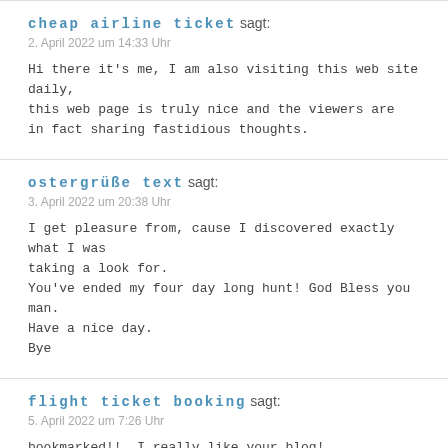cheap airline ticket sagt:
2. April 2022 um 14:33 Uhr
Hi there it's me, I am also visiting this web site daily, this web page is truly nice and the viewers are in fact sharing fastidious thoughts.
ostergrüße text sagt:
3. April 2022 um 20:38 Uhr
I get pleasure from, cause I discovered exactly what I was taking a look for.
You've ended my four day long hunt! God Bless you man.
Have a nice day.
Bye
flight ticket booking sagt:
5. April 2022 um 7:26 Uhr
bookmarked!!, I really like your blog!